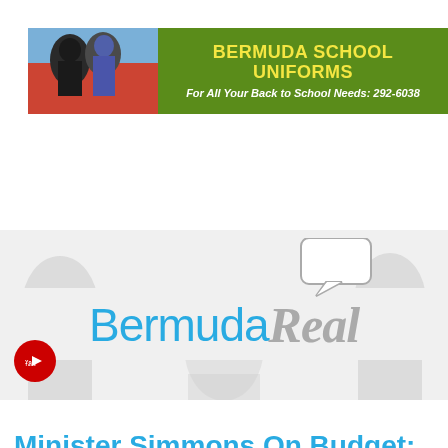[Figure (photo): Banner advertisement for Bermuda School Uniforms showing two people and green background with text]
[Figure (logo): BermudaReal website logo with speech bubble graphic and silhouette background]
[Figure (screenshot): Search bar with Facebook and YouTube social icons]
[Figure (screenshot): Navigation bar with hamburger menu icon]
Minister Simmons On Budget: ‘The Opposition More Interested In Operating As A